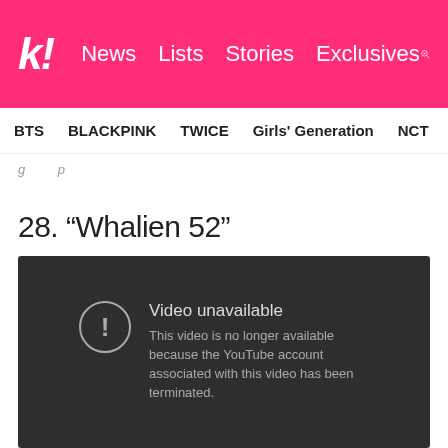k! News  Lists  Stories  Exclusives
BTS  BLACKPINK  TWICE  Girls' Generation  NCT  aespa
(partial/clipped navigation text)
28. “Whalien 52”
[Figure (screenshot): Embedded YouTube video player showing 'Video unavailable' error message: 'This video is no longer available because the YouTube account associated with this video has been terminated.']